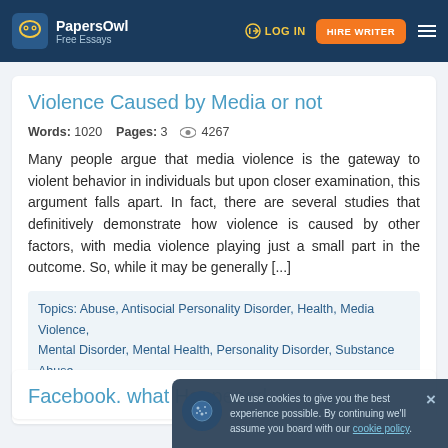PapersOwl Free Essays | LOG IN | HIRE WRITER
Violence Caused by Media or not
Words: 1020  Pages: 3  4267
Many people argue that media violence is the gateway to violent behavior in individuals but upon closer examination, this argument falls apart. In fact, there are several studies that definitively demonstrate how violence is caused by other factors, with media violence playing just a small part in the outcome. So, while it may be generally [...]
Topics: Abuse, Antisocial Personality Disorder, Health, Media Violence, Mental Disorder, Mental Health, Personality Disorder, Substance Abuse, Violence
Facebook. what Happened...
We use cookies to give you the best experience possible. By continuing we'll assume you board with our cookie policy.